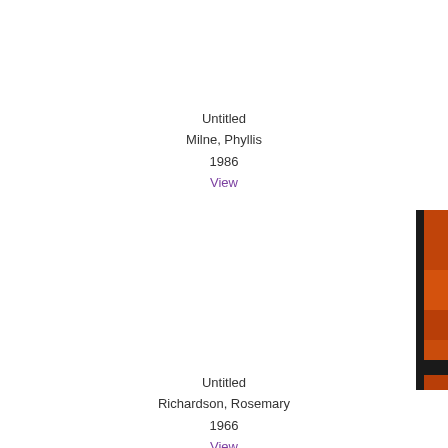Untitled
Milne, Phyllis
1986
View
[Figure (photo): Partial view of an artwork with orange and black colors, cropped at the right edge of the page]
Untitled
Richardson, Rosemary
1966
View